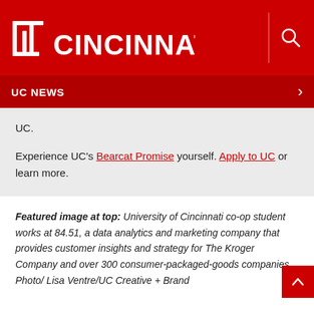UC CINCINNATI
UC NEWS
UC.
Experience UC's Bearcat Promise yourself. Apply to UC or learn more.
Featured image at top: University of Cincinnati co-op student works at 84.51, a data analytics and marketing company that provides customer insights and strategy for The Kroger Company and over 300 consumer-packaged-goods companies. Photo/ Lisa Ventre/UC Creative + Brand